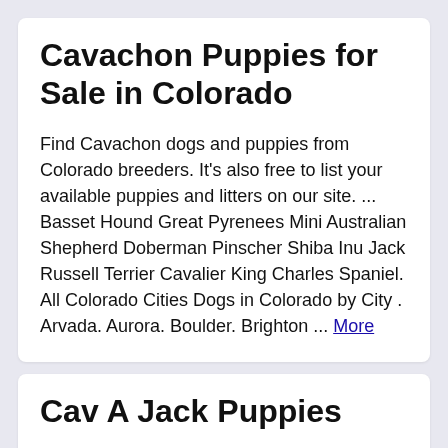Cavachon Puppies for Sale in Colorado
Find Cavachon dogs and puppies from Colorado breeders. It's also free to list your available puppies and litters on our site. ... Basset Hound Great Pyrenees Mini Australian Shepherd Doberman Pinscher Shiba Inu Jack Russell Terrier Cavalier King Charles Spaniel. All Colorado Cities Dogs in Colorado by City . Arvada. Aurora. Boulder. Brighton ... More
Cav A Jack Puppies
The cav a jack chi is a small sized dog averaging around 12 16 pounds when fully grown. Cav a jack puppies. Size height and